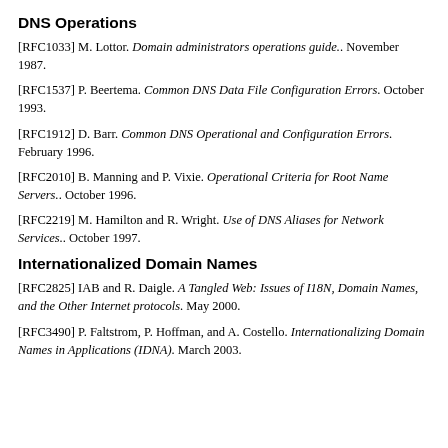DNS Operations
[RFC1033] M. Lottor. Domain administrators operations guide.. November 1987.
[RFC1537] P. Beertema. Common DNS Data File Configuration Errors. October 1993.
[RFC1912] D. Barr. Common DNS Operational and Configuration Errors. February 1996.
[RFC2010] B. Manning and P. Vixie. Operational Criteria for Root Name Servers.. October 1996.
[RFC2219] M. Hamilton and R. Wright. Use of DNS Aliases for Network Services.. October 1997.
Internationalized Domain Names
[RFC2825] IAB and R. Daigle. A Tangled Web: Issues of I18N, Domain Names, and the Other Internet protocols. May 2000.
[RFC3490] P. Faltstrom, P. Hoffman, and A. Costello. Internationalizing Domain Names in Applications (IDNA). March 2003.